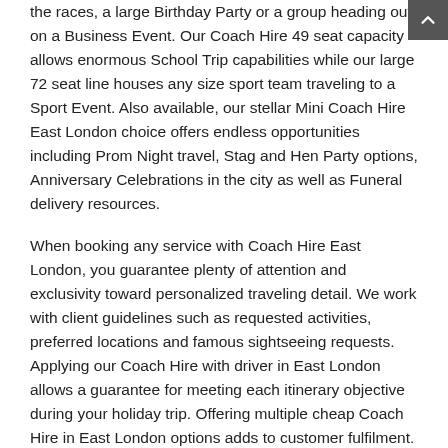the races, a large Birthday Party or a group heading out on a Business Event. Our Coach Hire 49 seat capacity allows enormous School Trip capabilities while our large 72 seat line houses any size sport team traveling to a Sport Event. Also available, our stellar Mini Coach Hire East London choice offers endless opportunities including Prom Night travel, Stag and Hen Party options, Anniversary Celebrations in the city as well as Funeral delivery resources.
When booking any service with Coach Hire East London, you guarantee plenty of attention and exclusivity toward personalized traveling detail. We work with client guidelines such as requested activities, preferred locations and famous sightseeing requests. Applying our Coach Hire with driver in East London allows a guarantee for meeting each itinerary objective during your holiday trip. Offering multiple cheap Coach Hire in East London options adds to customer fulfilment. Our superior price levels bring an added return on the trip investment when every on-board guest completely enjoys the riding experience.